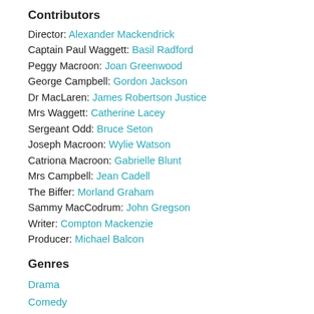Contributors
Director: Alexander Mackendrick
Captain Paul Waggett: Basil Radford
Peggy Macroon: Joan Greenwood
George Campbell: Gordon Jackson
Dr MacLaren: James Robertson Justice
Mrs Waggett: Catherine Lacey
Sergeant Odd: Bruce Seton
Joseph Macroon: Wylie Watson
Catriona Macroon: Gabrielle Blunt
Mrs Campbell: Jean Cadell
The Biffer: Morland Graham
Sammy MacCodrum: John Gregson
Writer: Compton Mackenzie
Producer: Michael Balcon
Genres
Drama
Comedy